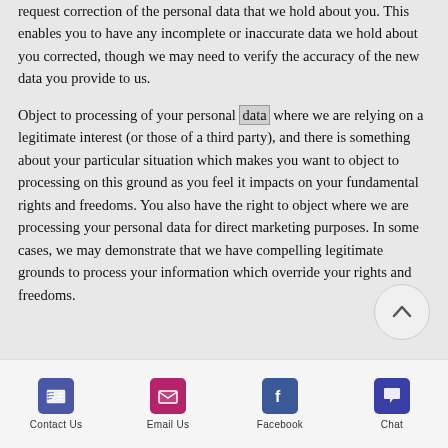request correction of the personal data that we hold about you. This enables you to have any incomplete or inaccurate data we hold about you corrected, though we may need to verify the accuracy of the new data you provide to us.
Object to processing of your personal data where we are relying on a legitimate interest (or those of a third party), and there is something about your particular situation which makes you want to object to processing on this ground as you feel it impacts on your fundamental rights and freedoms. You also have the right to object where we are processing your personal data for direct marketing purposes. In some cases, we may demonstrate that we have compelling legitimate grounds to process your information which override your rights and freedoms.
Contact Us | Email Us | Facebook | Chat